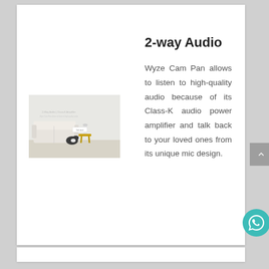2-way Audio
[Figure (photo): Living room scene with a white sofa, a black and white dog, and a Wyze Cam Pan camera on a gold side table against a light gray wall]
Wyze Cam Pan allows to listen to high-quality audio because of its Class-K audio power amplifier and talk back to your loved ones from its unique mic design.